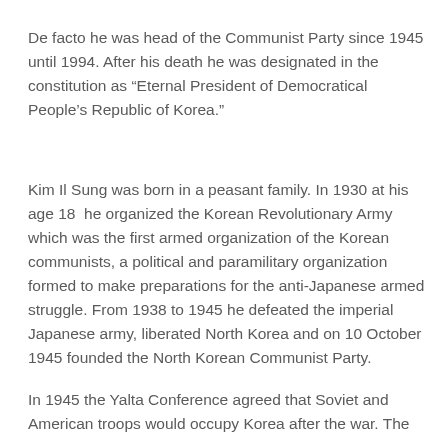De facto he was head of the Communist Party since 1945 until 1994. After his death he was designated in the constitution as “Eternal President of Democratical People’s Republic of Korea.”
Kim Il Sung was born in a peasant family. In 1930 at his age 18 he organized the Korean Revolutionary Army which was the first armed organization of the Korean communists, a political and paramilitary organization formed to make preparations for the anti-Japanese armed struggle. From 1938 to 1945 he defeated the imperial Japanese army, liberated North Korea and on 10 October 1945 founded the North Korean Communist Party.
In 1945 the Yalta Conference agreed that Soviet and American troops would occupy Korea after the war. The